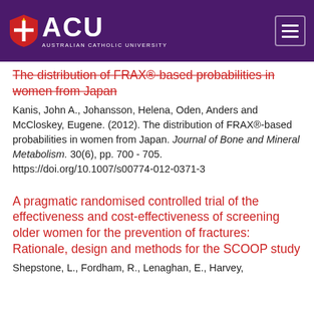ACU - Australian Catholic University
The distribution of FRAX®-based probabilities in women from Japan
Kanis, John A., Johansson, Helena, Oden, Anders and McCloskey, Eugene. (2012). The distribution of FRAX®-based probabilities in women from Japan. Journal of Bone and Mineral Metabolism. 30(6), pp. 700 - 705. https://doi.org/10.1007/s00774-012-0371-3
A pragmatic randomised controlled trial of the effectiveness and cost-effectiveness of screening older women for the prevention of fractures: Rationale, design and methods for the SCOOP study
Shepstone, L., Fordham, R., Lenaghan, E., Harvey,